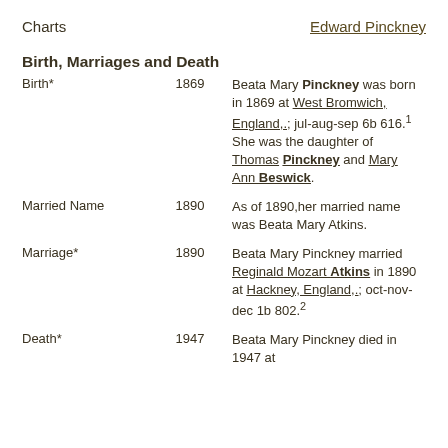Charts    Edward Pinckney
Birth, Marriages and Death
|  |  |  |
| --- | --- | --- |
| Birth* | 1869 | Beata Mary Pinckney was born in 1869 at West Bromwich, England,.; jul-aug-sep 6b 616.1 She was the daughter of Thomas Pinckney and Mary Ann Beswick. |
| Married Name | 1890 | As of 1890,her married name was Beata Mary Atkins. |
| Marriage* | 1890 | Beata Mary Pinckney married Reginald Mozart Atkins in 1890 at Hackney, England,.; oct-nov-dec 1b 802.2 |
| Death* | 1947 | Beata Mary Pinckney died in 1947 at |